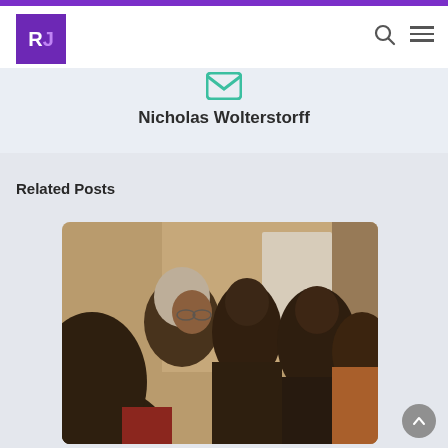RJ logo header with search and menu icons
Nicholas Wolterstorff
Related Posts
[Figure (photo): Group of people seated in an audience, viewed from behind/side, with a white-haired person prominent in the center, in a dimly lit room]